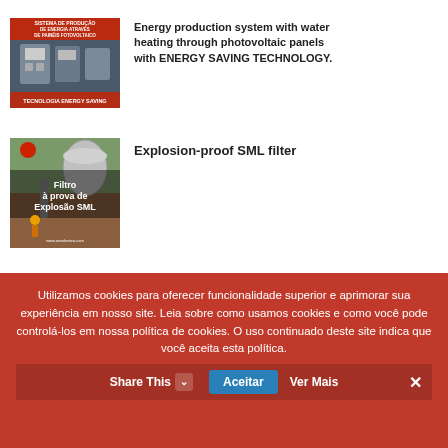[Figure (photo): Photo of energy production system with photovoltaic panels, showing industrial equipment with text overlay in Portuguese: SISTEMA DE PRODUÇÃO DE ENERGIA ATRAVÉS DE PAINÉIS FOTOVOLTAICOS / TECNOLOGIA ENERGY SAVING]
Energy production system with water heating through photovoltaic panels with ENERGY SAVING TECHNOLOGY.
[Figure (photo): Photo of an explosion-proof SML filter installation with text overlay in Portuguese: Filtro à prova de Explosão SML. URL www.amsiberica.com visible.]
Explosion-proof SML filter
Utilizamos cookies para oferecer funcionalidade superior e aprimorar sua experiência em nosso site. Leia sobre como usamos cookies e como você pode controlá-los em nossa política de cookies. O uso continuado deste site indica que você aceita esta política.